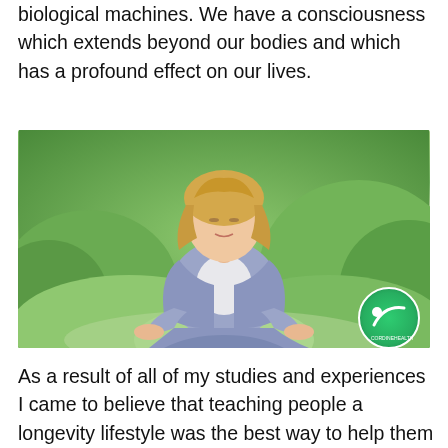biological machines. We have a consciousness which extends beyond our bodies and which has a profound effect on our lives.
[Figure (photo): A middle-aged blonde woman in a light purple outfit sitting in a lotus meditation pose outdoors surrounded by lush green garden shrubs, with a logo badge in the bottom right corner.]
As a result of all of my studies and experiences I came to believe that teaching people a longevity lifestyle was the best way to help them with their long term health and happiness.